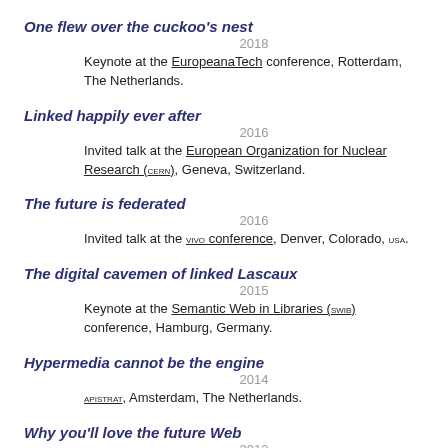One flew over the cuckoo's nest
2018
Keynote at the EuropeanaTech conference, Rotterdam, The Netherlands.
Linked happily ever after
2016
Invited talk at the European Organization for Nuclear Research (CERN), Geneva, Switzerland.
The future is federated
2016
Invited talk at the vivo conference, Denver, Colorado, USA.
The digital cavemen of linked Lascaux
2015
Keynote at the Semantic Web in Libraries (SWIB) conference, Hamburg, Germany.
Hypermedia cannot be the engine
2014
APIStrat, Amsterdam, The Netherlands.
Why you'll love the future Web
2012